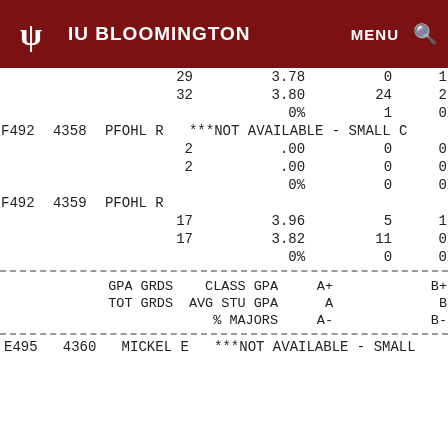IU BLOOMINGTON
|  |  |  | GPA/CLASS GPA | A+/A/A- | B+/B/B- |
| --- | --- | --- | --- | --- | --- |
|  |  | 29 | 3.78 | 0 | 1 |
|  |  | 32 | 3.80 | 24 | 2 |
|  |  |  | 0% | 1 | 0 |
| F492 | 4358 | PFOHL R | ***NOT AVAILABLE - SMALL C |  |  |
|  |  | 2 | .00 | 0 | 0 |
|  |  | 2 | .00 | 0 | 0 |
|  |  |  | 0% | 0 | 0 |
| F492 | 4359 | PFOHL R |  |  |  |
|  |  | 17 | 3.96 | 5 | 1 |
|  |  | 17 | 3.82 | 11 | 0 |
|  |  |  | 0% | 0 | 0 |
| GPA GRDS | CLASS GPA | A+ | B+ |
| --- | --- | --- | --- |
| TOT GRDS | AVG STU GPA | A | B |
|  | % MAJORS | A- | B- |
E495  4360  MICKEL E  ***NOT AVAILABLE - SMALL